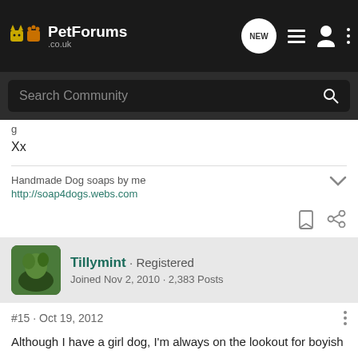PetForums .co.uk — navigation bar with NEW, list, user, and menu icons
Search Community
g
Xx
Handmade Dog soaps by me
http://soap4dogs.webs.com
Tillymint · Registered
Joined Nov 2, 2010 · 2,383 Posts
#15 · Oct 19, 2012
Although I have a girl dog, I'm always on the lookout for boyish